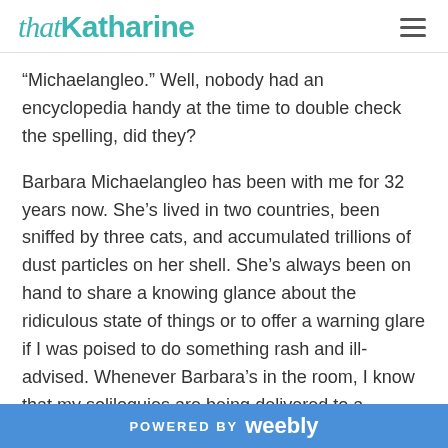that Katharine
“Michaelangleo.” Well, nobody had an encyclopedia handy at the time to double check the spelling, did they?
Barbara Michaelangleo has been with me for 32 years now. She’s lived in two countries, been sniffed by three cats, and accumulated trillions of dust particles on her shell. She’s always been on hand to share a knowing glance about the ridiculous state of things or to offer a warning glare if I was poised to do something rash and ill-advised. Whenever Barbara’s in the room, I know that my soliloquies are being delivered to a sympathetic soul. Although it pains me to admit, in all this time I have been woefully incurious about Barbara’s origins. I never
POWERED BY weebly